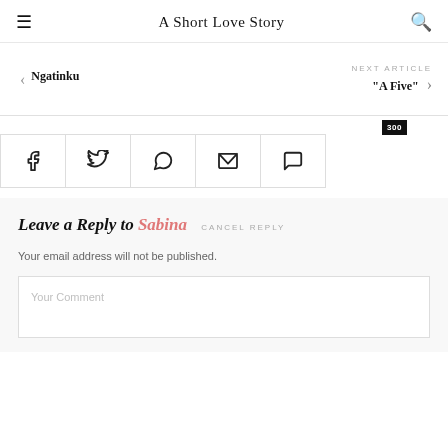A Short Love Story
Ngatinku
NEXT ARTICLE
"A Five"
[Figure (infographic): Social share bar with icons for Facebook, Twitter, WhatsApp, Email, and Comment (showing badge count 300)]
Leave a Reply to Sabina  CANCEL REPLY
Your email address will not be published.
Your Comment